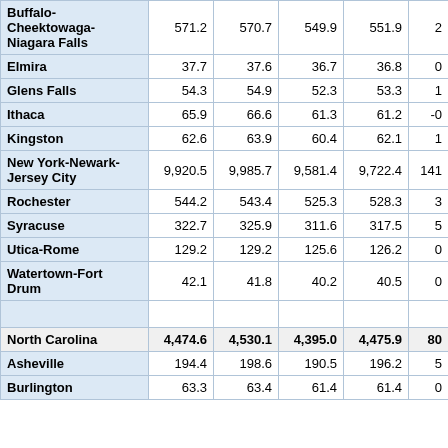| Metropolitan Area | Col1 | Col2 | Col3 | Col4 | Col5 |
| --- | --- | --- | --- | --- | --- |
| Buffalo-Cheektowaga-Niagara Falls | 571.2 | 570.7 | 549.9 | 551.9 | 2 |
| Elmira | 37.7 | 37.6 | 36.7 | 36.8 | 0 |
| Glens Falls | 54.3 | 54.9 | 52.3 | 53.3 | 1 |
| Ithaca | 65.9 | 66.6 | 61.3 | 61.2 | -0 |
| Kingston | 62.6 | 63.9 | 60.4 | 62.1 | 1 |
| New York-Newark-Jersey City | 9,920.5 | 9,985.7 | 9,581.4 | 9,722.4 | 141 |
| Rochester | 544.2 | 543.4 | 525.3 | 528.3 | 3 |
| Syracuse | 322.7 | 325.9 | 311.6 | 317.5 | 5 |
| Utica-Rome | 129.2 | 129.2 | 125.6 | 126.2 | 0 |
| Watertown-Fort Drum | 42.1 | 41.8 | 40.2 | 40.5 | 0 |
| (spacer) |  |  |  |  |  |
| North Carolina | 4,474.6 | 4,530.1 | 4,395.0 | 4,475.9 | 80 |
| Asheville | 194.4 | 198.6 | 190.5 | 196.2 | 5 |
| Burlington | 63.3 | 63.4 | 61.4 | 61.4 | 0 |